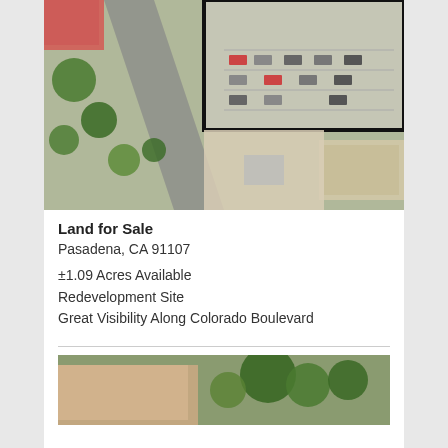[Figure (photo): Aerial view of a commercial land parcel in Pasadena, CA. The parcel boundary is outlined with a thick black border. Shows parking lots, street intersections, trees, and surrounding commercial buildings from above.]
Land for Sale
Pasadena, CA 91107
±1.09 Acres Available
Redevelopment Site
Great Visibility Along Colorado Boulevard
[Figure (photo): Partial aerial or ground-level photo of a building with trees, cropped at the bottom of the page.]